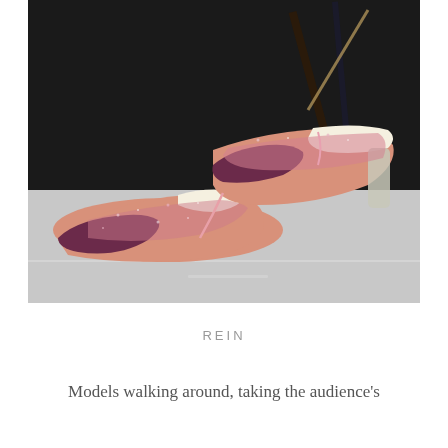[Figure (photo): Close-up photograph of a pair of pink and purple high-heel pumps with glittery texture and cream-colored interior lining, displayed on a light gray surface. In the background there are partially visible dark geometric shapes.]
REIN
Models walking around, taking the audience's